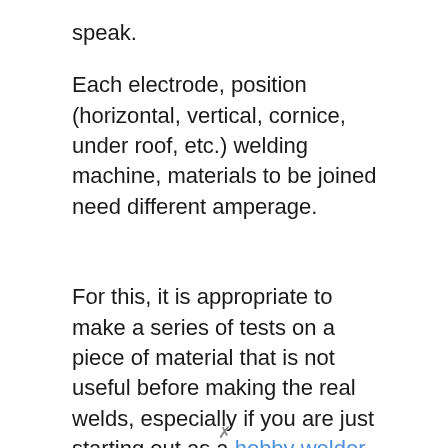speak.
Each electrode, position (horizontal, vertical, cornice, under roof, etc.) welding machine, materials to be joined need different amperage.
For this, it is appropriate to make a series of tests on a piece of material that is not useful before making the real welds, especially if you are just starting out as a hobby welder.
It is worthwhile to stop at this point and